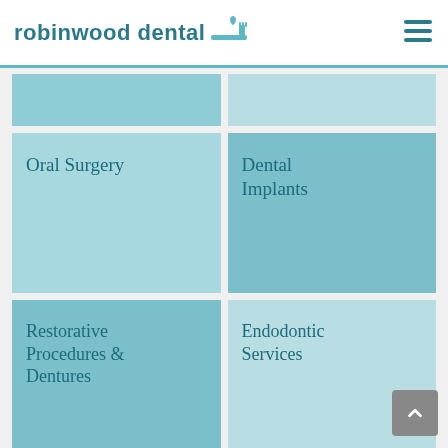robinwood dental
[Figure (other): Top-row tile left (partially visible, teal background, no visible text)]
[Figure (other): Top-row tile right (partially visible, light teal background, no visible text)]
Oral Surgery
Dental Implants
Restorative Procedures & Dentures
Endodontic Services
Sleep Apnea & Snore Guards
Advanced Dental Technology